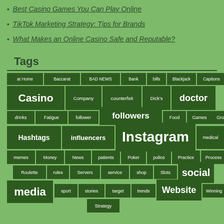Best Casino Games You Can Play Online
TikTok Marketing Strategy: Tips for Brands
What Makes an Online Casino Safe and Reputable?
Tags
[Figure (infographic): Tag cloud with words of varying sizes on dark green rectangular tiles against a light green background. Words include: at Home, Baccarat, BAD NEWS, Bank, bills, Blackjack, Captions, Casino, Company, counterfeit, Dick's, doctor, documents, drinks, Fatigue, follower, followers, Food, Games, Grow, Hashtags, influencers, Instagram, medical, memes, Money, News, patients, Poker, police, Practice, Process, Roulette, rules, Servers, service, shop, Slots, social, media, sport, stories, target, trends, Website, Winning, Strategy]